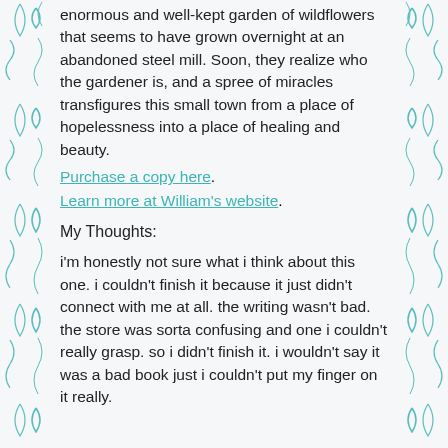enormous and well-kept garden of wildflowers that seems to have grown overnight at an abandoned steel mill. Soon, they realize who the gardener is, and a spree of miracles transfigures this small town from a place of hopelessness into a place of healing and beauty.
Purchase a copy here. Learn more at William's website.
My Thoughts:
i'm honestly not sure what i think about this one. i couldn't finish it because it just didn't connect with me at all. the writing wasn't bad. the store was sorta confusing and one i couldn't really grasp. so i didn't finish it. i wouldn't say it was a bad book just i couldn't put my finger on it really.